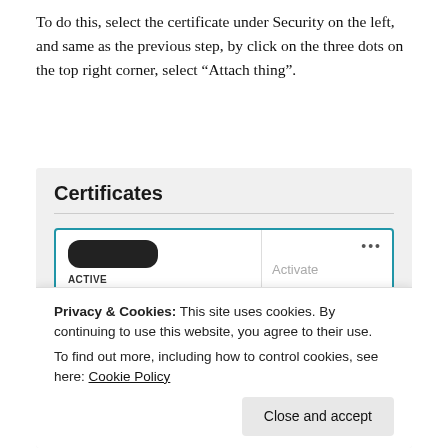To do this, select the certificate under Security on the left, and same as the previous step, by click on the three dots on the top right corner, select “Attach thing”.
[Figure (screenshot): Screenshot of a web UI showing a 'Certificates' panel with a card that has a redacted certificate name, labeled ACTIVE, with a dropdown menu showing options: Activate (grayed out), Deactivate. There are three dots icon in the top right of the card. A cookie consent banner overlays the bottom with text about Privacy & Cookies and a 'Close and accept' button.]